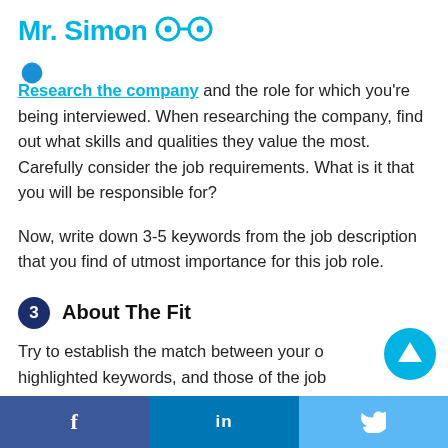Mr. Simon
Research the company and the role for which you're being interviewed. When researching the company, find out what skills and qualities they value the most. Carefully consider the job requirements. What is it that you will be responsible for?
Now, write down 3-5 keywords from the job description that you find of utmost importance for this job role.
3 About The Fit
Try to establish the match between your o... highlighted keywords, and those of the job
f  in  🐦